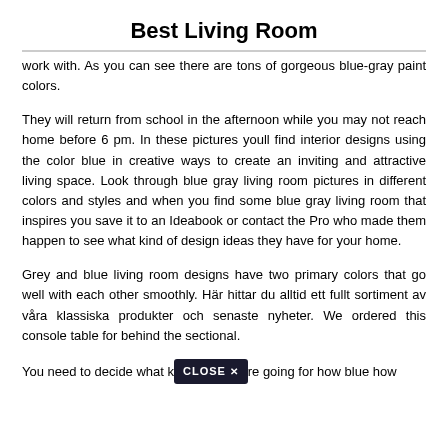Best Living Room
work with. As you can see there are tons of gorgeous blue-gray paint colors.
They will return from school in the afternoon while you may not reach home before 6 pm. In these pictures youll find interior designs using the color blue in creative ways to create an inviting and attractive living space. Look through blue gray living room pictures in different colors and styles and when you find some blue gray living room that inspires you save it to an Ideabook or contact the Pro who made them happen to see what kind of design ideas they have for your home.
Grey and blue living room designs have two primary colors that go well with each other smoothly. Här hittar du alltid ett fullt sortiment av våra klassiska produkter och senaste nyheter. We ordered this console table for behind the sectional.
You need to decide what [CLOSE X] re going for how blue how